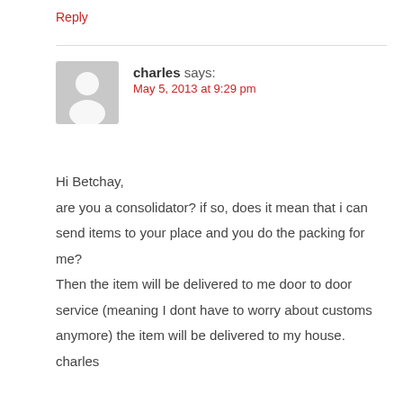Reply
charles says:
May 5, 2013 at 9:29 pm
Hi Betchay,
are you a consolidator? if so, does it mean that i can send items to your place and you do the packing for me?
Then the item will be delivered to me door to door service (meaning I dont have to worry about customs anymore) the item will be delivered to my house.
charles